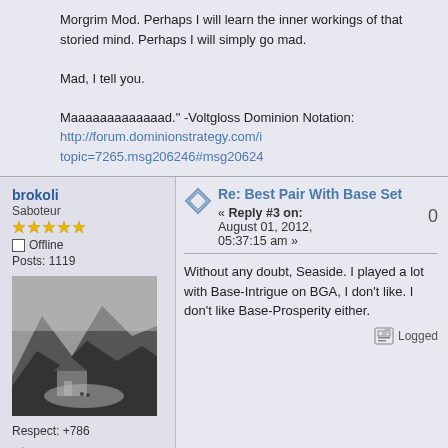Morgrim Mod. Perhaps I will learn the inner workings of that storied mind. Perhaps I will simply go mad.

Mad, I tell you.

Maaaaaaaaaaaaad." -Voltgloss Dominion Notation:
http://forum.dominionstrategy.com/index.php?topic=7265.msg206246#msg206246
brokoli
Saboteur
Offline
Posts: 1119
Respect: +786
[Figure (photo): Black and white photo of a rural cottage or house in a mountainous landscape]
Re: Best Pair With Base Set
« Reply #3 on: August 01, 2012, 05:37:15 am »
0
Without any doubt, Seaside. I played a lot with Base-Intrigue on BGA, I don't like. I don't like Base-Prosperity either.
Logged